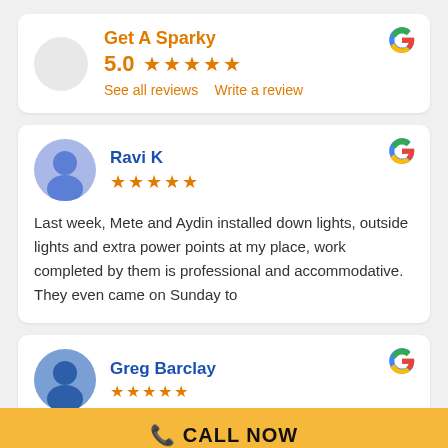[Figure (screenshot): Google review card for 'Get A Sparky' business showing 5.0 star rating with 'See all reviews' and 'Write a review' links and Google G logo]
[Figure (screenshot): Google review card from reviewer 'Ravi K' with 5-star rating and review text: 'Last week, Mete and Aydin installed down lights, outside lights and extra power points at my place, work completed by them is professional and accommodative. They even came on Sunday to']
[Figure (screenshot): Partial Google review card from reviewer 'Greg Barclay' with 5-star rating (partially visible)]
CALL NOW